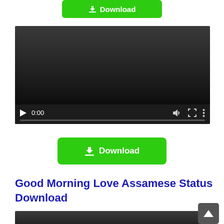[Figure (screenshot): Green Download button partially visible at top of page]
[Figure (screenshot): Video player with dark background showing 0:00 timestamp and playback controls including play button, time, volume, fullscreen, and options icons, with a progress bar at bottom]
[Figure (screenshot): Green Download button below video player]
Good Morning Love Assamese Status Download
[Figure (screenshot): Partially visible dark video thumbnail at bottom of page with scroll-to-top button in bottom right corner]